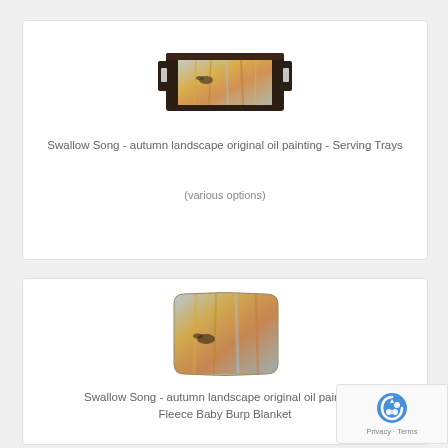[Figure (photo): Product photo of a serving tray with autumn landscape oil painting artwork]
Swallow Song - autumn landscape original oil painting - Serving Trays
(various options)
[Figure (photo): Product photo of a fleece baby burp blanket with autumn landscape oil painting artwork]
Swallow Song - autumn landscape original oil painting - Fleece Baby Burp Blanket